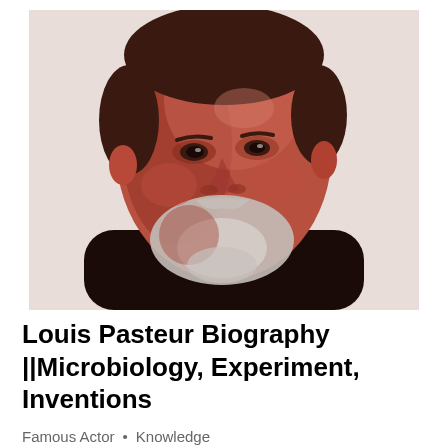[Figure (photo): Sepia-toned portrait photograph of Louis Pasteur, a middle-aged to older man with a beard and mustache, wearing a dark suit and bow tie, facing slightly to the right with a serious expression.]
Louis Pasteur Biography ||Microbiology, Experiment, Inventions
Famous Actor  •  Knowledge